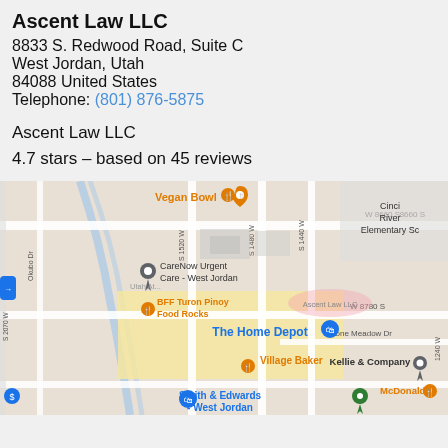Ascent Law LLC
8833 S. Redwood Road, Suite C
West Jordan, Utah
84088 United States
Telephone: (801) 876-5875
Ascent Law LLC
4.7 stars – based on 45 reviews
[Figure (map): Google Maps showing location of Ascent Law LLC in West Jordan, Utah near The Home Depot, CareNow Urgent Care, Vegan Bowl, BFF Turon Pinoy Food Rocks, Village Baker, Kellie & Company, McDonald's, Smith & Edwards - West Jordan, and Cincinnati River Elementary School. Major streets include S 1520 W, S 1480 W, S 1440 W, W 8660 S, W 8780 S, Stone Meadow Dr, Okubo Dr.]